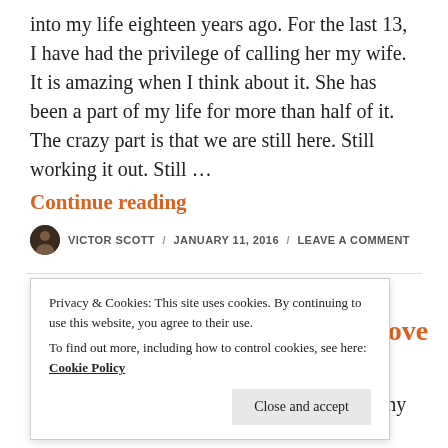into my life eighteen years ago. For the last 13, I have had the privilege of calling her my wife. It is amazing when I think about it. She has been a part of my life for more than half of it. The crazy part is that we are still here. Still working it out. Still …
Continue reading
VICTOR SCOTT / JANUARY 11, 2016 / LEAVE A COMMENT
MISCELLANEOUS
A Perfect Match: A Story of Love
Privacy & Cookies: This site uses cookies. By continuing to use this website, you agree to their use. To find out more, including how to control cookies, see here: Cookie Policy
Close and accept
time.  The circumstances of life and geography have